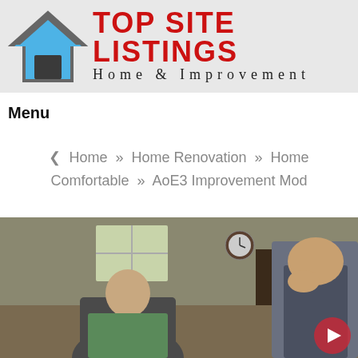[Figure (logo): Top Site Listings Home & Improvement logo with house icon in blue and grey and red bold text]
Menu
❮ Home » Home Renovation » Home Comfortable » AoE3 Improvement Mod
[Figure (screenshot): Video screenshot showing two men in a room, one in a green shirt seated and one standing in a vest with hand raised to face. A red circular play button is visible in the lower right.]